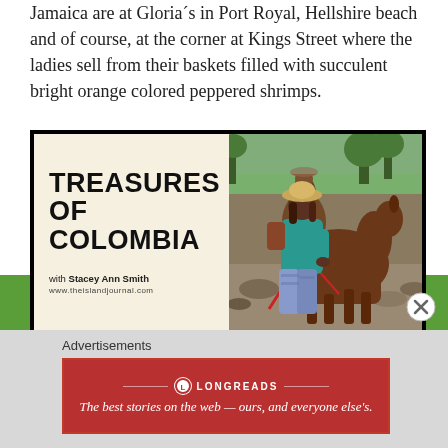Jamaica are at Gloria´s in Port Royal, Hellshire beach and of course, at the corner at Kings Street where the ladies sell from their baskets filled with succulent bright orange colored peppered shrimps.
[Figure (illustration): Advertisement banner for 'Treasures of Colombia with Stacey Ann Smith' from www.theislandjournal.com. Left half has cream background with bold black text reading 'TREASURES OF COLOMBIA' and byline 'with Stacey Ann Smith / www.theislandjournal.com'. Right half shows a woman in a teal top and blue patterned pants standing beside a brown horse in a rocky outdoor setting, with another rider on horseback in the background.]
Advertisements
[Figure (other): Longreads advertisement banner with red background. Shows Longreads logo (circle with L) and text 'The best stories on the web — ours, and everyone else's.']